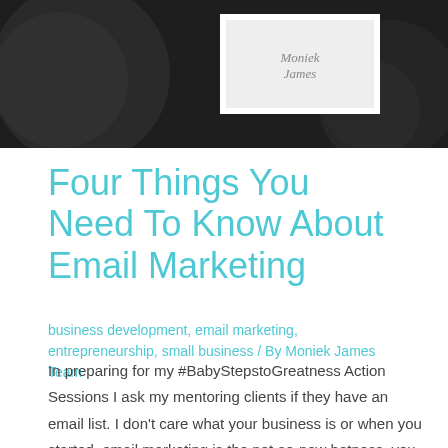[Figure (photo): Dark background image with circular design elements and a white-bordered inner frame containing script text 'Moniek James' in the upper right area of the frame]
Four Things You Need To Know About Email Marketing
business development, email marketing, entrepreneurship, small business / By Moniek James Team
In preparing for my #BabyStepstoGreatness Action Sessions I ask my mentoring clients if they have an email list. I don't care what your business is or when you started, email marketing is the not-so-new hotness, you should be paying attention. Social media platforms are getting hip to the monetization game for business owners, which means we will …